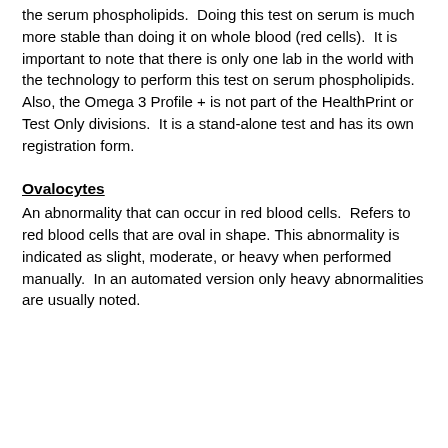the serum phospholipids.  Doing this test on serum is much more stable than doing it on whole blood (red cells).  It is important to note that there is only one lab in the world with the technology to perform this test on serum phospholipids. Also, the Omega 3 Profile + is not part of the HealthPrint or Test Only divisions.  It is a stand-alone test and has its own registration form.
Ovalocytes
An abnormality that can occur in red blood cells.  Refers to red blood cells that are oval in shape. This abnormality is indicated as slight, moderate, or heavy when performed manually.  In an automated version only heavy abnormalities are usually noted.